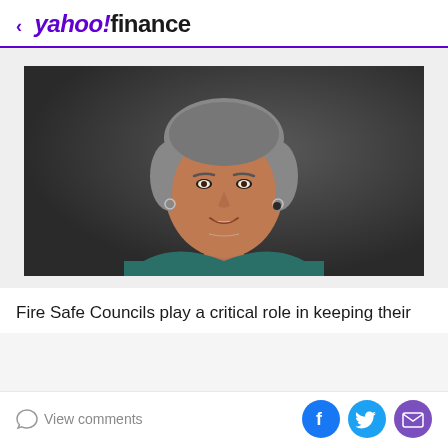< yahoo!finance
[Figure (photo): Professional headshot of a middle-aged woman with gray hair, wearing a teal top, smiling against a dark gray background.]
Fire Safe Councils play a critical role in keeping their
View comments